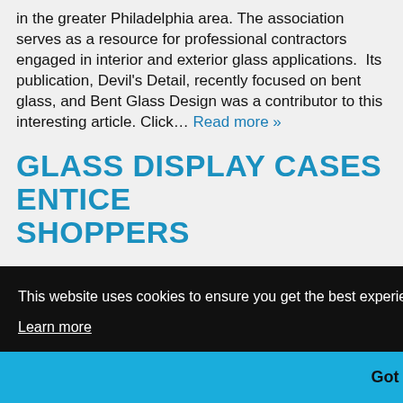in the greater Philadelphia area. The association serves as a resource for professional contractors engaged in interior and exterior glass applications.  Its publication, Devil's Detail, recently focused on bent glass, and Bent Glass Design was a contributor to this interesting article. Click... Read more »
GLASS DISPLAY CASES ENTICE SHOPPERS
This website uses cookies to ensure you get the best experience on our website.
Learn more
Got it!